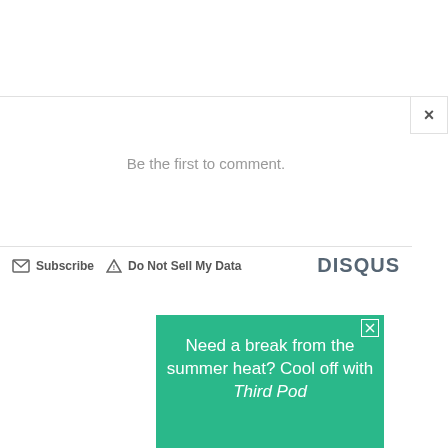×
Be the first to comment.
Subscribe  ▲ Do Not Sell My Data    DISQUS
[Figure (screenshot): Advertisement banner with teal/green background reading: Need a break from the summer heat? Cool off with Third Pod (text cut off). Has a close X button in top right corner.]